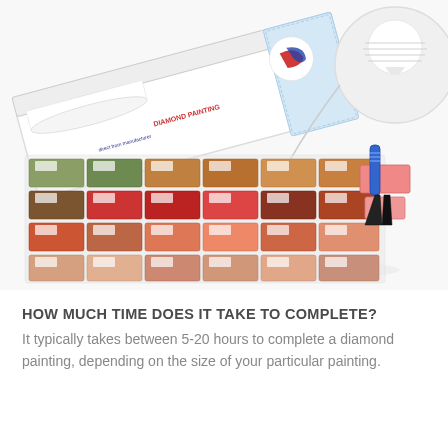[Figure (photo): Diamond painting kit contents displayed on a white background, showing a box with a red and blue logo reading 'DIAMOND PAINTING', rolls of canvas, multiple small labeled bags of colored diamond beads in reds, browns, oranges and greens arranged in rows, a blue pen tool, tweezers, pink wax pads. An inset close-up shows a white round stylus/drill pen tool.]
HOW MUCH TIME DOES IT TAKE TO COMPLETE?
It typically takes between 5-20 hours to complete a diamond painting, depending on the size of your particular painting.